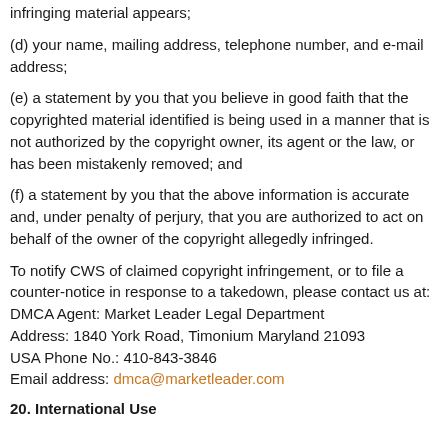infringing material appears;
(d) your name, mailing address, telephone number, and e-mail address;
(e) a statement by you that you believe in good faith that the copyrighted material identified is being used in a manner that is not authorized by the copyright owner, its agent or the law, or has been mistakenly removed; and
(f) a statement by you that the above information is accurate and, under penalty of perjury, that you are authorized to act on behalf of the owner of the copyright allegedly infringed.
To notify CWS of claimed copyright infringement, or to file a counter-notice in response to a takedown, please contact us at:
DMCA Agent: Market Leader Legal Department
Address: 1840 York Road, Timonium Maryland 21093
USA Phone No.: 410-843-3846
Email address: dmca@marketleader.com
20. International Use